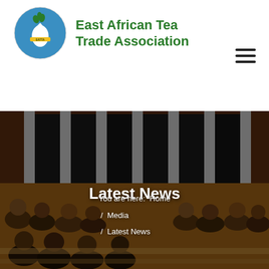East African Tea Trade Association
Latest News
You are here: Home / Media / Latest News
[Figure (photo): Conference hall with audience seated at tables listening to a presentation, with a banner visible in the background]